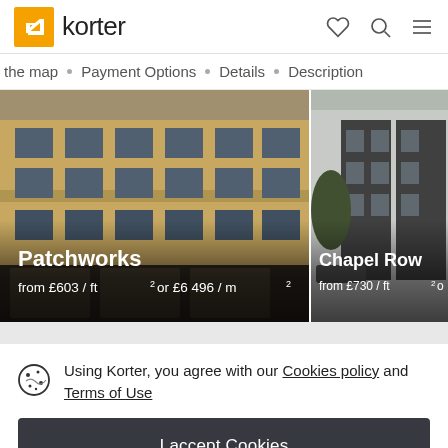korter
the map · Payment Options · Details · Description
[Figure (photo): Two property listing cards side by side. Left card shows 'Patchworks' building (brick facade) from £603 / ft² or £6 496 / m². Right card shows 'Chapel Row' building from £730 / ft².]
Using Korter, you agree with our Cookies policy and Terms of Use
I accept Cookies